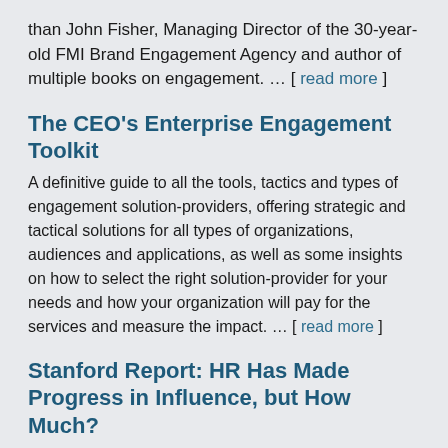than John Fisher, Managing Director of the 30-year-old FMI Brand Engagement Agency and author of multiple books on engagement. … [ read more ]
The CEO's Enterprise Engagement Toolkit
A definitive guide to all the tools, tactics and types of engagement solution-providers, offering strategic and tactical solutions for all types of organizations, audiences and applications, as well as some insights on how to select the right solution-provider for your needs and how your organization will pay for the services and measure the impact. … [ read more ]
Stanford Report: HR Has Made Progress in Influence, but How Much?